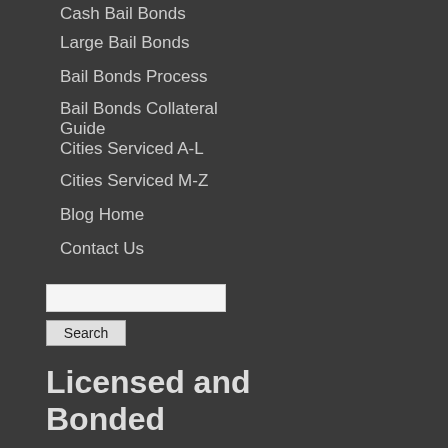Cash Bail Bonds
Large Bail Bonds
Bail Bonds Process
Bail Bonds Collateral Guide
Cities Serviced A-L
Cities Serviced M-Z
Blog Home
Contact Us
Search
Licensed and Bonded
AZ Dept of Insurance